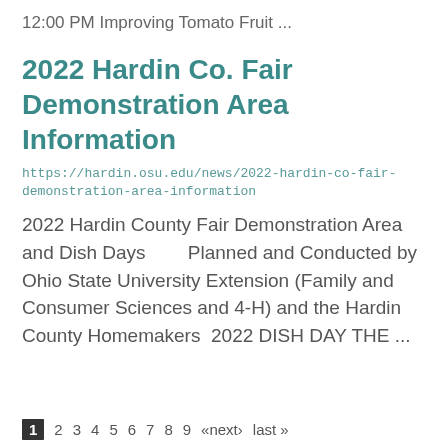12:00 PM Improving Tomato Fruit ...
2022 Hardin Co. Fair Demonstration Area Information
https://hardin.osu.edu/news/2022-hardin-co-fair-demonstration-area-information
2022 Hardin County Fair Demonstration Area and Dish Days Planned and Conducted by Ohio State University Extension (Family and Consumer Sciences and 4-H) and the Hardin County Homemakers  2022 DISH DAY THE ...
1  2  3  4  5  6  7  8  9  «next›  last »